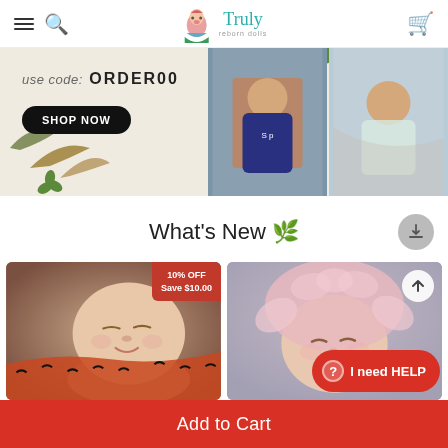[Figure (screenshot): E-commerce website header with hamburger menu, search icon, Truly Reborn Dolls logo, and cart icon]
[Figure (screenshot): Promotional banner showing 'use code: ORDER00' with SHOP NOW button and photos of children]
What's New 🌿
[Figure (photo): Sleeping newborn baby smiling, with 10% OFF Save $10.00 discount badge]
[Figure (photo): Sleeping baby with fluffy pink bonnet on lavender background, with scroll-to-top button]
Add to Cart
I need HELP